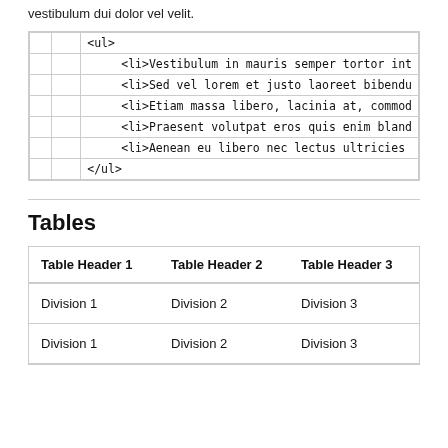vestibulum dui dolor vel velit.
| <ul> |
|     <li>Vestibulum in mauris semper tortor int |
|     <li>Sed vel lorem et justo laoreet bibendu |
|     <li>Etiam massa libero, lacinia at, commod |
|     <li>Praesent volutpat eros quis enim bland |
|     <li>Aenean eu libero nec lectus ultricies |
| </ul> |
Tables
| Table Header 1 | Table Header 2 | Table Header 3 |
| --- | --- | --- |
| Division 1 | Division 2 | Division 3 |
| Division 1 | Division 2 | Division 3 |